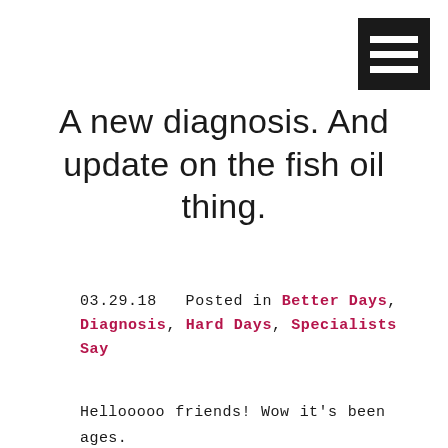[Figure (other): Hamburger menu icon — three white horizontal bars on a dark/black square background, positioned in the top-right corner]
A new diagnosis. And update on the fish oil thing.
03.29.18   Posted in Better Days, Diagnosis, Hard Days, Specialists Say
Hellooooo friends! Wow it’s been ages. So much has happened. We’re in a beautiful home now. It was a really long haul to get to this point but we’re settled and happy. Grace is settled in school. The bus is working out just fine now. She has all her insurance and